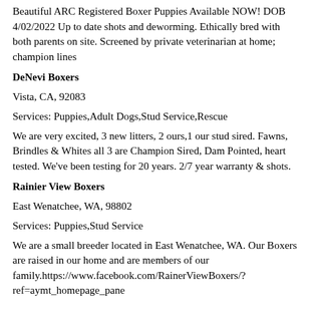Beautiful ARC Registered Boxer Puppies Available NOW! DOB 4/02/2022 Up to date shots and deworming. Ethically bred with both parents on site. Screened by private veterinarian at home; champion lines
DeNevi Boxers
Vista, CA, 92083
Services: Puppies,Adult Dogs,Stud Service,Rescue
We are very excited, 3 new litters, 2 ours,1 our stud sired. Fawns, Brindles & Whites all 3 are Champion Sired, Dam Pointed, heart tested. We've been testing for 20 years. 2/7 year warranty & shots.
Rainier View Boxers
East Wenatchee, WA, 98802
Services: Puppies,Stud Service
We are a small breeder located in East Wenatchee, WA. Our Boxers are raised in our home and are members of our family.https://www.facebook.com/RainerViewBoxers/?ref=aymt_homepage_pane